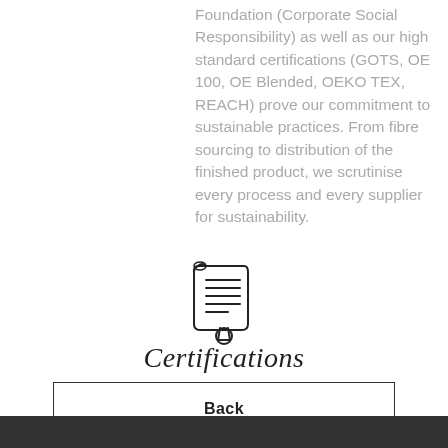Foundation (Corporate Social Responsibility) as well as our high standard certifications (GOTS, OE 100, OE Blended, OEKO TEX, REACH) prove our commitment to sustainable practices. From fibre sourcing to distribution of the finished product, we scrutinise every process and every supplier for sustainability.
[Figure (illustration): A certificate/scroll icon with lines representing text and a small seal/ribbon badge at the bottom]
Certifications